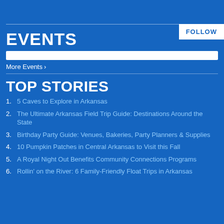FOLLOW
EVENTS
More Events ›
TOP STORIES
5 Caves to Explore in Arkansas
The Ultimate Arkansas Field Trip Guide: Destinations Around the State
Birthday Party Guide: Venues, Bakeries, Party Planners & Supplies
10 Pumpkin Patches in Central Arkansas to Visit this Fall
A Royal Night Out Benefits Community Connections Programs
Rollin' on the River: 6 Family-Friendly Float Trips in Arkansas